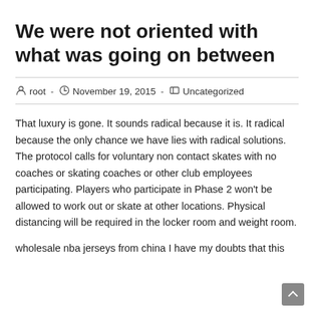We were not oriented with what was going on between
root  -  November 19, 2015  -  Uncategorized
That luxury is gone. It sounds radical because it is. It radical because the only chance we have lies with radical solutions. The protocol calls for voluntary non contact skates with no coaches or skating coaches or other club employees participating. Players who participate in Phase 2 won't be allowed to work out or skate at other locations. Physical distancing will be required in the locker room and weight room.
wholesale nba jerseys from china I have my doubts that this